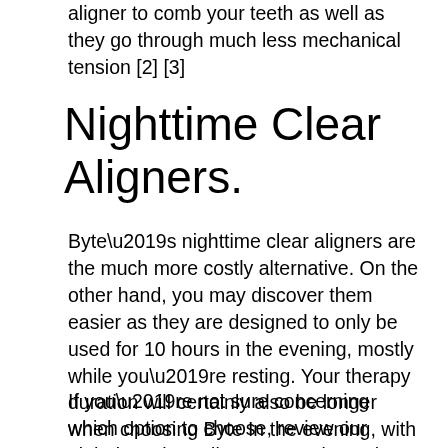aligner to comb your teeth as well as they go through much less mechanical tension [2] [3]
Nighttime Clear Aligners.
Byte’s nighttime clear aligners are the much more costly alternative. On the other hand, you may discover them easier as they are designed to only be used for 10 hours in the evening, mostly while you’re resting. Your therapy duration will certainly also be longer when choosing Byte In the evening, with a minimum of 5 to 6 months instead of the usual three-month minimum.
If you’re not sure concerning which option to choose, review our nighttime clear aligners examine to learn more about their benefits